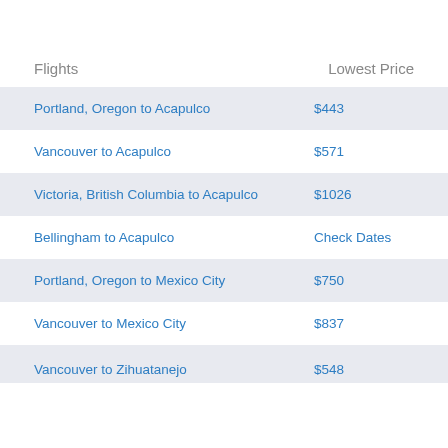| Flights | Lowest Price |
| --- | --- |
| Portland, Oregon to Acapulco | $443 |
| Vancouver to Acapulco | $571 |
| Victoria, British Columbia to Acapulco | $1026 |
| Bellingham to Acapulco | Check Dates |
| Portland, Oregon to Mexico City | $750 |
| Vancouver to Mexico City | $837 |
| Vancouver to Zihuatanejo | $548 |